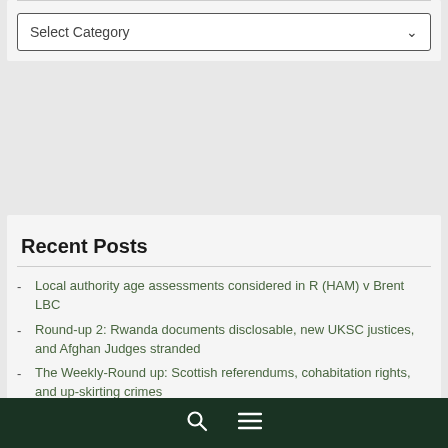[Figure (screenshot): Select Category dropdown widget with border and chevron arrow]
Recent Posts
Local authority age assessments considered in R (HAM) v Brent LBC
Round-up 2: Rwanda documents disclosable, new UKSC justices, and Afghan Judges stranded
The Weekly-Round up: Scottish referendums, cohabitation rights, and up-skirting crimes
The Weekly Round-up: proposed reforms to judicial review, Truss's promise to cut taxes, strip-searching
🔍 ☰